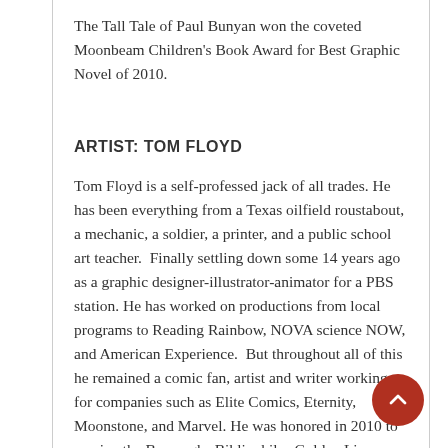The Tall Tale of Paul Bunyan won the coveted Moonbeam Children's Book Award for Best Graphic Novel of 2010.
ARTIST: TOM FLOYD
Tom Floyd is a self-professed jack of all trades. He has been everything from a Texas oilfield roustabout, a mechanic, a soldier, a printer, and a public school art teacher.  Finally settling down some 14 years ago as a graphic designer-illustrator-animator for a PBS station. He has worked on productions from local programs to Reading Rainbow, NOVA science NOW, and American Experience.  But throughout all of this he remained a comic fan, artist and writer working for companies such as Elite Comics, Eternity, Moonstone, and Marvel. He was honored in 2010 to receive the Burroughs Bibliophiles Golden Lion Award for his illustrations for new Bison Books editions of the Moon Maid, Pellucidar, The Eternal Savage, and Pirates of Venus.  He has also written and illustrated